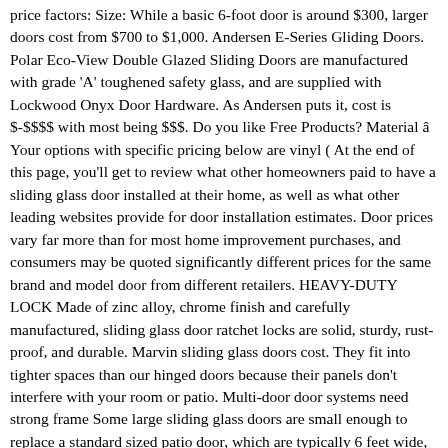price factors: Size: While a basic 6-foot door is around $300, larger doors cost from $700 to $1,000. Andersen E-Series Gliding Doors. Polar Eco-View Double Glazed Sliding Doors are manufactured with grade 'A' toughened safety glass, and are supplied with Lockwood Onyx Door Hardware. As Andersen puts it, cost is $-$$$$ with most being $$$. Do you like Free Products? Material â Your options with specific pricing below are vinyl ( At the end of this page, you'll get to review what other homeowners paid to have a sliding glass door installed at their home, as well as what other leading websites provide for door installation estimates. Door prices vary far more than for most home improvement purchases, and consumers may be quoted significantly different prices for the same brand and model door from different retailers. HEAVY-DUTY LOCK Made of zinc alloy, chrome finish and carefully manufactured, sliding glass door ratchet locks are solid, sturdy, rust-proof, and durable. Marvin sliding glass doors cost. They fit into tighter spaces than our hinged doors because their panels don't interfere with your room or patio. Multi-door door systems need strong frame Some large sliding glass doors are small enough to replace a standard sized patio door, which are typically 6 feet wide, without removing a wall. Sliding glass doors are available from local lumber yards; home improvement centers like Home Depot, Accurate installation estimates can only be done on-site, as measurements need to be precise and the condition of the existing frame and surrounding wall needs to be evaluated. Why is dental